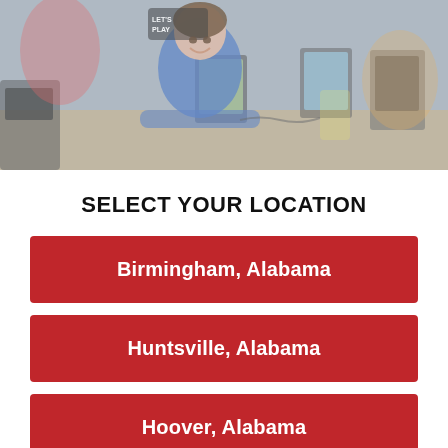[Figure (photo): Photo of a smiling woman in a blue uniform standing at a counter with multiple tablets/screens in a colorful indoor play center. A 'Let's Play' logo is visible in the background.]
SELECT YOUR LOCATION
Birmingham, Alabama
Huntsville, Alabama
Hoover, Alabama
Let's Play is a kid friendly indoor soft playcenter that